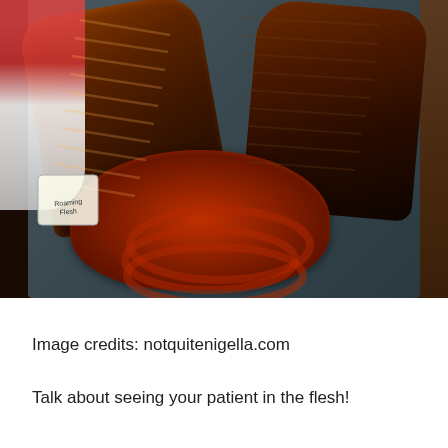[Figure (photo): Overhead photo of BBQ ribs and sausage coils on a dark tray, with a bowl of food visible on the left side]
Image credits: notquitenigella.com
Talk about seeing your patient in the flesh!